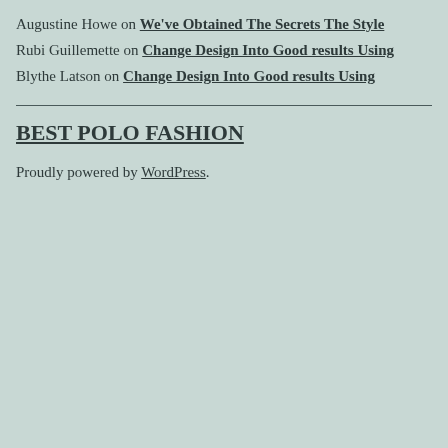Augustine Howe on We've Obtained The Secrets The Style
Rubi Guillemette on Change Design Into Good results Using
Blythe Latson on Change Design Into Good results Using
BEST POLO FASHION
Proudly powered by WordPress.